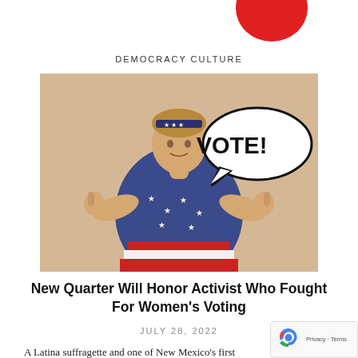[Figure (illustration): Partial logo/graphic at top of page with red circular element visible]
DEMOCRACY CULTURE
[Figure (illustration): Vintage-style illustration of a woman in American flag-themed dress with thumbs up gestures, with a speech bubble reading VOTE!]
New Quarter Will Honor Activist Who Fought For Women's Voting
JULY 28, 2022
A Latina suffragette and one of New Mexico's first